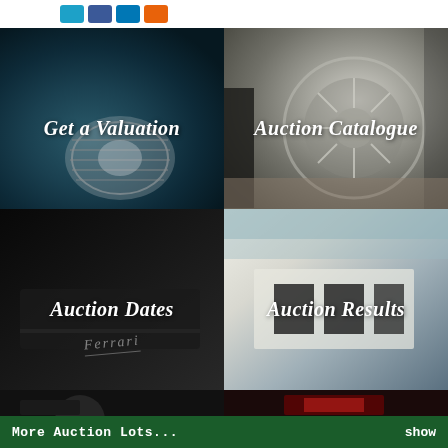[Figure (screenshot): Top bar with social media sharing buttons (cyan, blue, dark blue, orange)]
[Figure (photo): Grid of four classic/luxury car photos. Top-left: dark teal classic car grille with label 'Get a Valuation'. Top-right: silver modern car alloy wheel close-up with label 'Auction Catalogue'. Bottom-left: dark Ferrari interior/badge close-up with label 'Auction Dates'. Bottom-right: white supercar hood/air intake close-up with label 'Auction Results'.]
[Figure (photo): Partial bottom row of two more car photos, cropped]
More Auction Lots... show